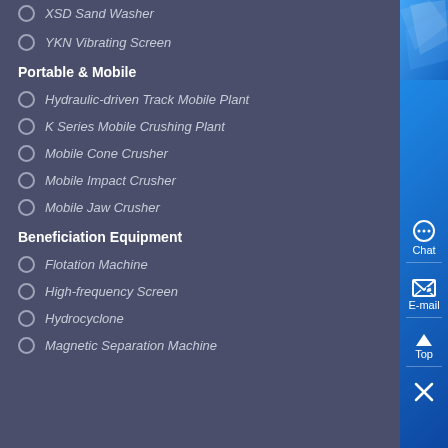XSD Sand Washer
YKN Vibrating Screen
Portable & Mobile
Hydraulic-driven Track Mobile Plant
K Series Mobile Crushing Plant
Mobile Cone Crusher
Mobile Impact Crusher
Mobile Jaw Crusher
Beneficiation Equipment
Flotation Machine
High-frequency Screen
Hydrocyclone
Magnetic Separation Machine